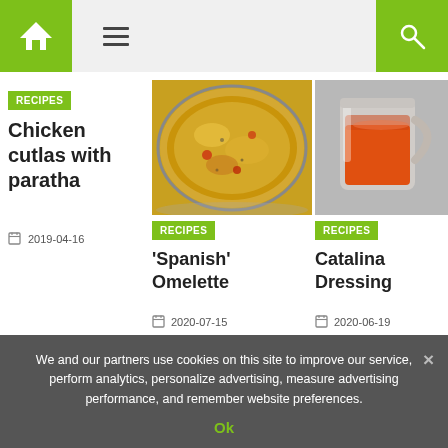[Figure (screenshot): Website header with green home icon, hamburger menu, and green search icon]
[Figure (photo): Baked Spanish omelette in a pan with cheese and vegetables]
[Figure (photo): Glass of Catalina dressing (orange/red sauce)]
RECIPES
Chicken cutlas with paratha
2019-04-16
RECIPES
'Spanish' Omelette
2020-07-15
RECIPES
Catalina Dressing
2020-06-19
◄ Cardamo
Pico De Ga
We and our partners use cookies on this site to improve our service, perform analytics, personalize advertising, measure advertising performance, and remember website preferences.
Ok